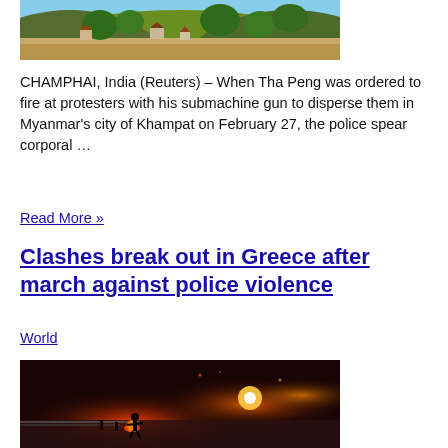[Figure (photo): Aerial view of hillside village with houses and trees, dry landscape]
CHAMPHAI, India (Reuters) – When Tha Peng was ordered to fire at protesters with his submachine gun to disperse them in Myanmar's city of Khampat on February 27, the police spear corporal …
Read More »
Clashes break out in Greece after march against police violence
World
[Figure (photo): Night scene with red flares/fire on a street during clashes, figures silhouetted against red light]